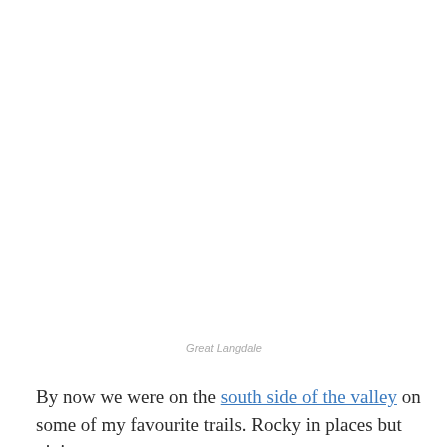[Figure (photo): Large white/blank area representing a photograph of Great Langdale (image content not visible in this crop)]
Great Langdale
By now we were on the south side of the valley on some of my favourite trails. Rocky in places but giving